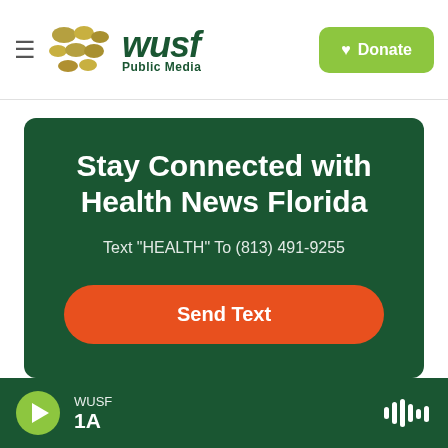WUSF Public Media — Donate
[Figure (logo): WUSF Public Media logo with golden dots and green text, hamburger menu icon on left, green Donate button on right]
Stay Connected with Health News Florida
Text "HEALTH" To (813) 491-9255
Send Text
WUSF 1A — audio player bar with play button and waveform icon